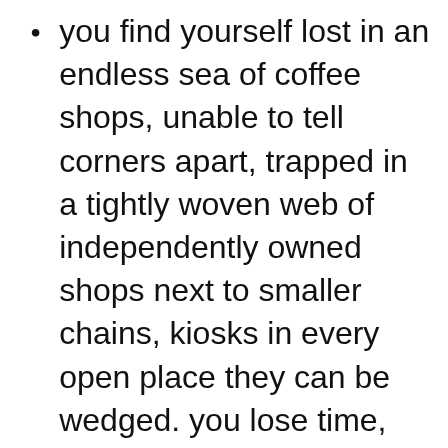you find yourself lost in an endless sea of coffee shops, unable to tell corners apart, trapped in a tightly woven web of independently owned shops next to smaller chains, kiosks in every open place they can be wedged. you lose time, lose sleep, and in your delirium, you fill another punch card, redeem your free latte, and continue your